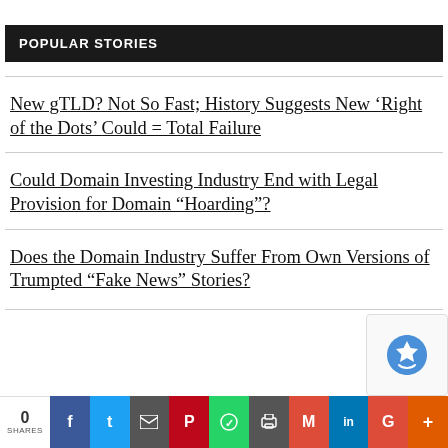POPULAR STORIES
New gTLD? Not So Fast; History Suggests New ‘Right of the Dots’ Could = Total Failure
Could Domain Investing Industry End with Legal Provision for Domain “Hoarding”?
Does the Domain Industry Suffer From Own Versions of Trumpted “Fake News” Stories?